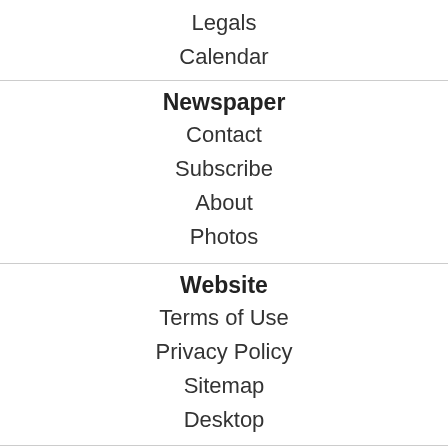Legals
Calendar
Newspaper
Contact
Subscribe
About
Photos
Website
Terms of Use
Privacy Policy
Sitemap
Desktop
Advertise